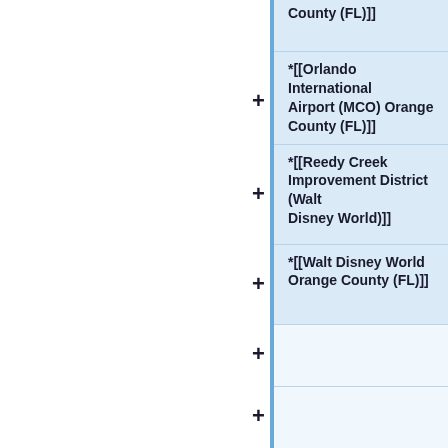| *[[... County (FL)]] |
| *[[Orlando International Airport (MCO) Orange County (FL)]] |
| *[[Reedy Creek Improvement District (Walt Disney World)]] |
| *[[Walt Disney World Orange County (FL)]] |
|  |
|  |
|  |
|  |
|  |
|  |